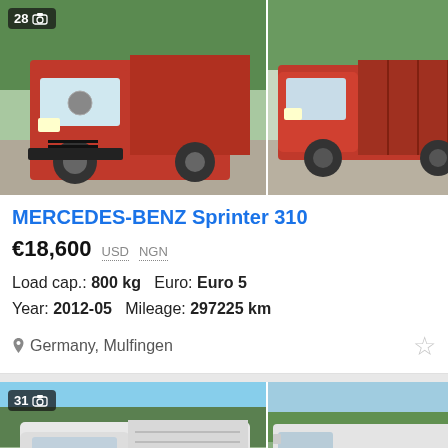[Figure (photo): Red Mercedes-Benz Sprinter 310 truck with covered cargo body, front-left view. Badge showing 28 photos.]
MERCEDES-BENZ Sprinter 310
€18,600  USD  NGN
Load cap.: 800 kg   Euro: Euro 5
Year: 2012-05   Mileage: 297225 km
Germany, Mulfingen
[Figure (photo): White Mercedes-Benz Sprinter truck, front view. Badge showing 31 photos.]